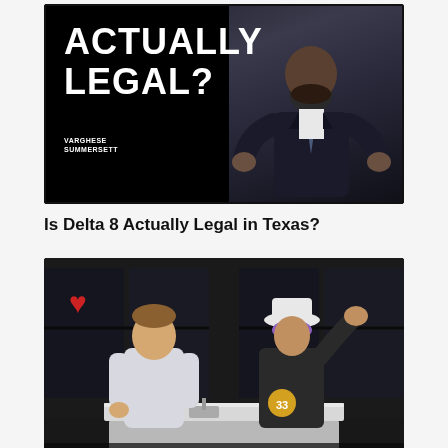[Figure (photo): Video thumbnail with black background showing text 'ACTUALLY LEGAL?' on the left and a man in a dark suit with a beard gesturing with both hands on the right. Logo reads 'VARGHESE SUMMERSETT' at the bottom left.]
Is Delta 8 Actually Legal in Texas?
[Figure (photo): Video thumbnail showing two people standing at a white kitchen island/counter. On the left is a young man in a white polo shirt. On the right is a person wearing a white hat and jacket with purple hair gesturing with their hand raised. There is a red heart decoration visible in the upper left. The background shows dark windows/glass panels.]
What is Delta-8 THC? | Smoking With